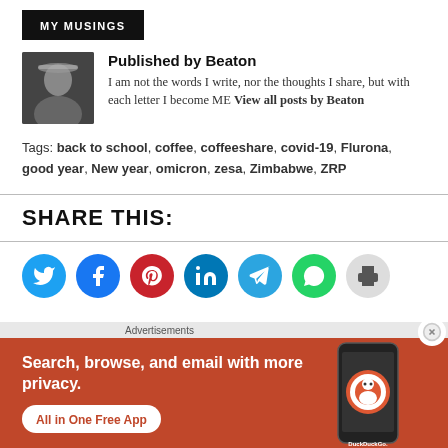MY MUSINGS
Published by Beaton
I am not the words I write, nor the thoughts I share, but with each letter I become ME View all posts by Beaton
Tags: back to school, coffee, coffeeshare, covid-19, Flurona, good year, New year, omicron, zesa, Zimbabwe, ZRP
SHARE THIS:
[Figure (infographic): Social sharing icon buttons: Twitter (blue), Facebook (dark blue), Pinterest (red), LinkedIn (blue), Telegram (light blue), WhatsApp (green), Print (gray)]
[Figure (infographic): DuckDuckGo advertisement banner with orange background, text: Search, browse, and email with more privacy. All in One Free App, with phone mockup and DuckDuckGo logo]